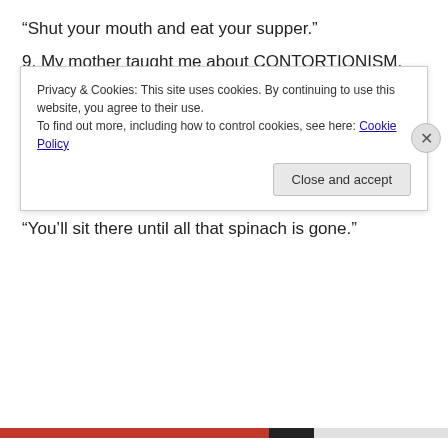“Shut your mouth and eat your supper.”
9. My mother taught me about CONTORTIONISM.
“Just you look at that dirt on the back of your neck!”
10. My mother taught me about STAMINA.
“You’ll sit there until all that spinach is gone.”
Privacy & Cookies: This site uses cookies. By continuing to use this website, you agree to their use.
To find out more, including how to control cookies, see here: Cookie Policy
Close and accept